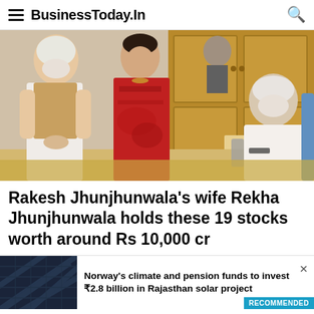BusinessToday.In
[Figure (photo): Photo showing PM Narendra Modi standing and talking with a woman in a red saree (Rekha Jhunjhunwala) and an elderly man seated at a desk, with wooden cabinet doors in background.]
Rakesh Jhunjhunwala's wife Rekha Jhunjhunwala holds these 19 stocks worth around Rs 10,000 cr
[Figure (photo): Thumbnail photo of solar panels arranged in rows, dark blue/black color, aerial or angled view.]
Norway's climate and pension funds to invest ₹2.8 billion in Rajasthan solar project